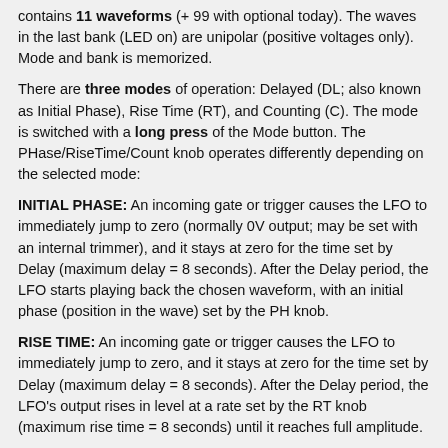contains 11 waveforms (+ 99 with optional today). The waves in the last bank (LED on) are unipolar (positive voltages only). Mode and bank is memorized.
There are three modes of operation: Delayed (DL; also known as Initial Phase), Rise Time (RT), and Counting (C). The mode is switched with a long press of the Mode button. The PHase/RiseTime/Count knob operates differently depending on the selected mode:
INITIAL PHASE: An incoming gate or trigger causes the LFO to immediately jump to zero (normally 0V output; may be set with an internal trimmer), and it stays at zero for the time set by Delay (maximum delay = 8 seconds). After the Delay period, the LFO starts playing back the chosen waveform, with an initial phase (position in the wave) set by the PH knob.
RISE TIME: An incoming gate or trigger causes the LFO to immediately jump to zero, and it stays at zero for the time set by Delay (maximum delay = 8 seconds). After the Delay period, the LFO's output rises in level at a rate set by the RT knob (maximum rise time = 8 seconds) until it reaches full amplitude.